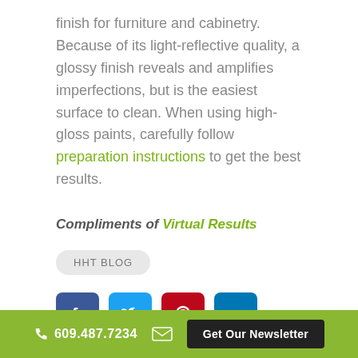finish for furniture and cabinetry. Because of its light-reflective quality, a glossy finish reveals and amplifies imperfections, but is the easiest surface to clean. When using high-gloss paints, carefully follow preparation instructions to get the best results.
Compliments of Virtual Results
HHT BLOG
[Figure (other): Social media icons: Facebook, Twitter, Pinterest, LinkedIn]
609.487.7234  Get Our Newsletter